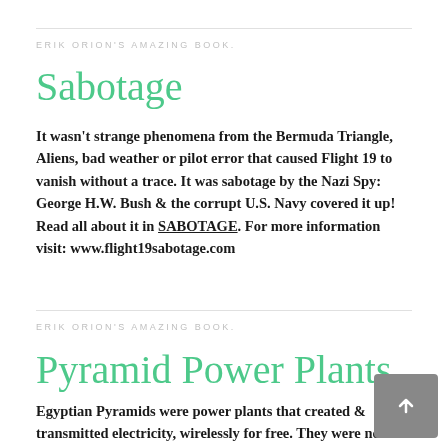ERIK ORION'S AMAZING BOOK.
Sabotage
It wasn't strange phenomena from the Bermuda Triangle, Aliens, bad weather or pilot error that caused Flight 19 to vanish without a trace. It was sabotage by the Nazi Spy: George H.W. Bush & the corrupt U.S. Navy covered it up! Read all about it in SABOTAGE. For more information visit: www.flight19sabotage.com
ERIK ORION'S AMAZING BOOK.
Pyramid Power Plants
Egyptian Pyramids were power plants that created & transmitted electricity, wirelessly for free. They were not